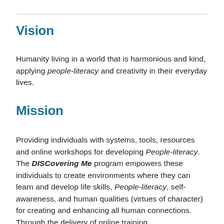Vision
Humanity living in a world that is harmonious and kind, applying people-literacy and creativity in their everyday lives.
Mission
Providing individuals with systems, tools, resources and online workshops for developing People-literacy.  The DISCovering Me program empowers these individuals to create environments where they can learn and develop life skills, People-literacy, self-awareness, and human qualities (virtues of character) for creating and enhancing all human connections. Through the delivery of online training,